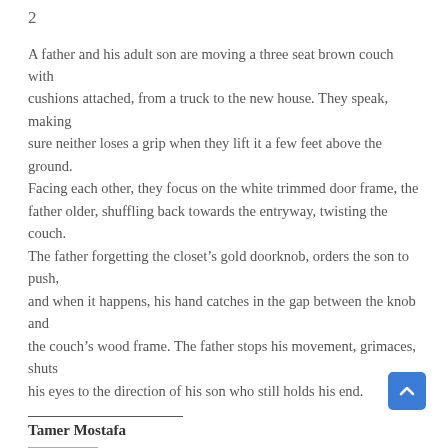2
A father and his adult son are moving a three seat brown couch with
cushions attached, from a truck to the new house. They speak, making
sure neither loses a grip when they lift it a few feet above the ground.
Facing each other, they focus on the white trimmed door frame, the
father older, shuffling back towards the entryway, twisting the couch.
The father forgetting the closet’s gold doorknob, orders the son to push,
and when it happens, his hand catches in the gap between the knob and
the couch’s wood frame. The father stops his movement, grimaces, shuts
his eyes to the direction of his son who still holds his end.
Tamer Mostafa
Share this: